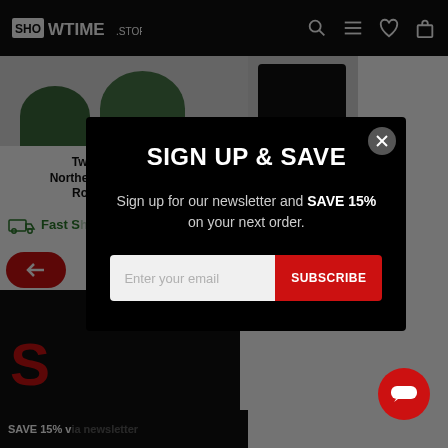SHOWTIME STORE
[Figure (screenshot): Background view of Showtime Store product page showing green hats and black shirt products with product name 'Twin Peaks Northern Room #31' and price '$9.' with Fast Shipping label]
[Figure (infographic): Sign Up & Save modal popup on black background with email subscription form. Title: SIGN UP & SAVE. Body: Sign up for our newsletter and SAVE 15% on your next order. Email field with SUBSCRIBE button.]
SIGN UP & SAVE
Sign up for our newsletter and SAVE 15% on your next order.
Enter your email
SUBSCRIBE
Twin Peaks Northern Room #31
$9.
Fast S
SAVE 15% v